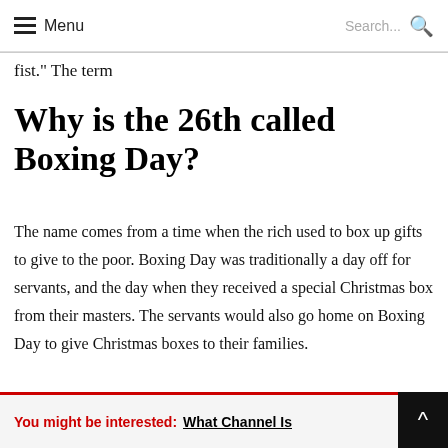Menu  Search...
fist." The term
Why is the 26th called Boxing Day?
The name comes from a time when the rich used to box up gifts to give to the poor. Boxing Day was traditionally a day off for servants, and the day when they received a special Christmas box from their masters. The servants would also go home on Boxing Day to give Christmas boxes to their families.
You might be interested:  What Channel Is